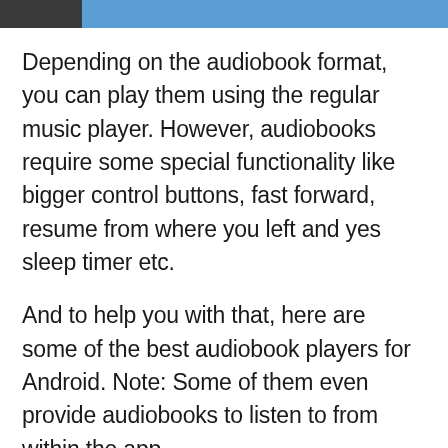[Figure (photo): Partial photo visible at top of page, showing a person in a blue shirt]
Depending on the audiobook format, you can play them using the regular music player. However, audiobooks require some special functionality like bigger control buttons, fast forward, resume from where you left and yes sleep timer etc.
And to help you with that, here are some of the best audiobook players for Android. Note: Some of them even provide audiobooks to listen to from within the app.